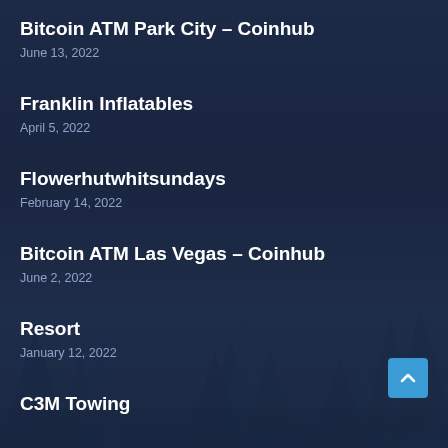Bitcoin ATM Park City – Coinhub
June 13, 2022
Franklin Inflatables
April 5, 2022
Flowerhutwhitsundays
February 14, 2022
Bitcoin ATM Las Vegas – Coinhub
June 2, 2022
Resort
January 12, 2022
C3M Towing